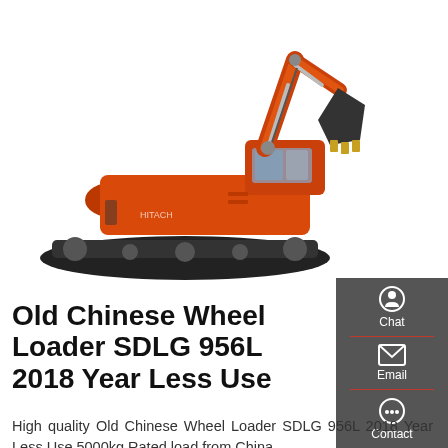[Figure (photo): Orange tracked excavator/crawler excavator on white background, shown from the side with boom and bucket raised]
Old Chinese Wheel Loader SDLG 956L 2018 Year Less Use
High quality Old Chinese Wheel Loader SDLG 956L 2018 Year Less Use 5000kg Rated load from China,